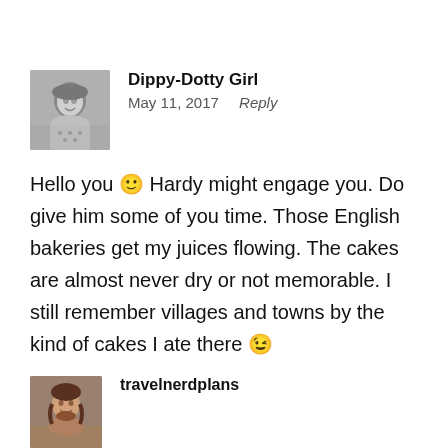Dippy-Dotty Girl
May 11, 2017   Reply
Hello you 🙂 Hardy might engage you. Do give him some of you time. Those English bakeries get my juices flowing. The cakes are almost never dry or not memorable. I still remember villages and towns by the kind of cakes I ate there 😉
Like
travelnerdplans